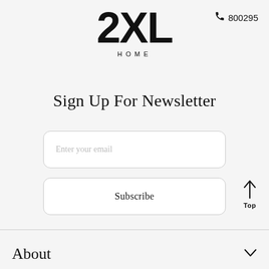[Figure (logo): 2XL HOME logo with large bold 2XL text and HOME in spaced capitals below]
800295
Sign Up For Newsletter
Enter your email
Subscribe
Top
About